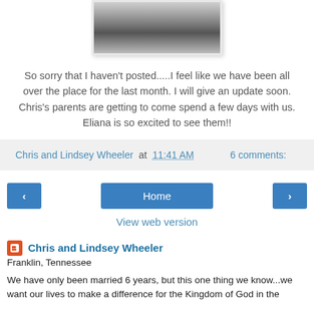[Figure (photo): Black and white photo of a person, cropped at top of page]
So sorry that I haven't posted.....I feel like we have been all over the place for the last month. I will give an update soon. Chris's parents are getting to come spend a few days with us. Eliana is so excited to see them!!
Chris and Lindsey Wheeler at 11:41 AM    6 comments:
[Figure (screenshot): Navigation bar with back arrow, Home button, and forward arrow]
View web version
Chris and Lindsey Wheeler
Franklin, Tennessee
We have only been married 6 years, but this one thing we know...we want our lives to make a difference for the Kingdom of God in the